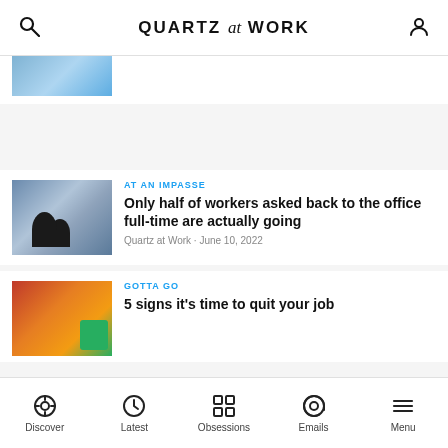QUARTZ at WORK
[Figure (photo): Partial thumbnail of an article image at top, partially cropped]
AT AN IMPASSE
Only half of workers asked back to the office full-time are actually going
Quartz at Work • June 10, 2022
GOTTA GO
5 signs it's time to quit your job
Discover  Latest  Obsessions  Emails  Menu